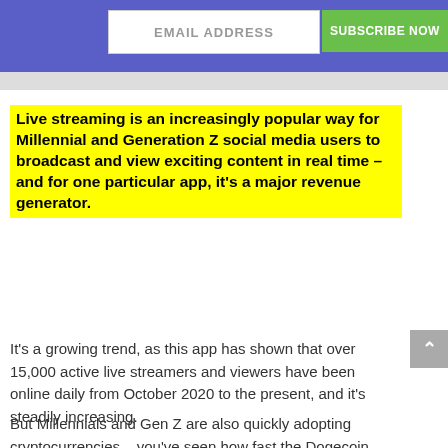[Figure (screenshot): Email subscription bar with purple/blue background, white email input field labeled EMAIL ADDRESS, and green SUBSCRIBE NOW button]
Live streaming is an increasingly popular way for Millennial and Generation Z social media users to broadcast and view exciting content in real time – and for one particular app, it's a major revenue generator.
It's a growing trend, as this app has shown that over 15,000 active live streamers and viewers have been online daily from October 2020 to the present, and it's steadily increasing.
But Millennials and Gen Z are also quickly adopting cryptocurrencies – you've seen how fast the Dogecoin trading volumes and price have skyrocketed